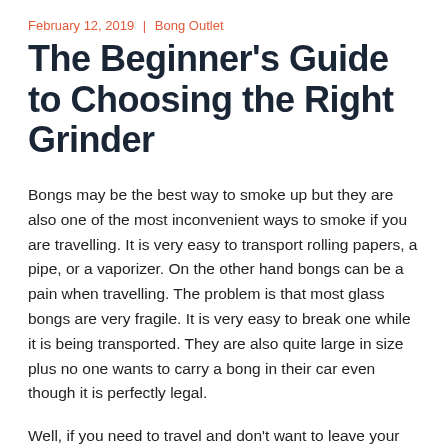February 12, 2019 | Bong Outlet
The Beginner's Guide to Choosing the Right Grinder
Bongs may be the best way to smoke up but they are also one of the most inconvenient ways to smoke if you are travelling. It is very easy to transport rolling papers, a pipe, or a vaporizer. On the other hand bongs can be a pain when travelling. The problem is that most glass bongs are very fragile. It is very easy to break one while it is being transported. They are also quite large in size plus no one wants to carry a bong in their car even though it is perfectly legal.
Well, if you need to travel and don't want to leave your favorite bong behind then read on to see how to